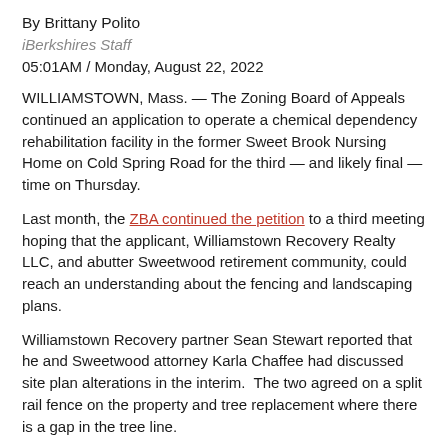By Brittany Polito
iBerkshires Staff
05:01AM / Monday, August 22, 2022
WILLIAMSTOWN, Mass. — The Zoning Board of Appeals continued an application to operate a chemical dependency rehabilitation facility in the former Sweet Brook Nursing Home on Cold Spring Road for the third — and likely final — time on Thursday.
Last month, the ZBA continued the petition to a third meeting hoping that the applicant, Williamstown Recovery Realty LLC, and abutter Sweetwood retirement community, could reach an understanding about the fencing and landscaping plans.
Williamstown Recovery partner Sean Stewart reported that he and Sweetwood attorney Karla Chaffee had discussed site plan alterations in the interim.  The two agreed on a split rail fence on the property and tree replacement where there is a gap in the tree line.
The issue is that the board did not have a site plan that reflected